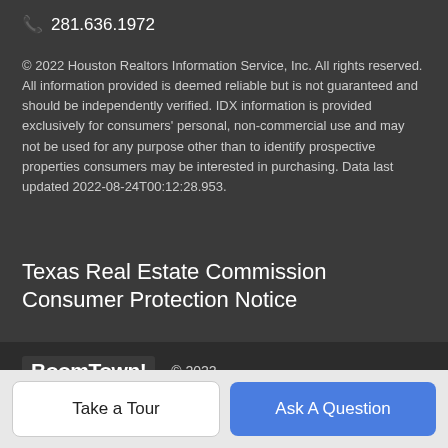📞 281.636.1972
© 2022 Houston Realtors Information Service, Inc. All rights reserved. All information provided is deemed reliable but is not guaranteed and should be independently verified. IDX information is provided exclusively for consumers' personal, non-commercial use and may not be used for any purpose other than to identify prospective properties consumers may be interested in purchasing. Data last updated 2022-08-24T00:12:28.953.
Texas Real Estate Commission Consumer Protection Notice
BoomTown! © 2022
Terms of Use | Privacy Policy | Accessibility | DMCA
Take a Tour
Ask A Question